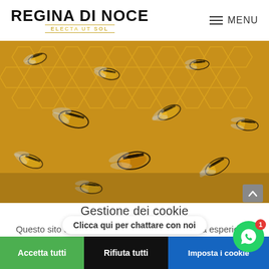REGINA DI NOCE — ELECTA UT SOL | MENU
[Figure (photo): Close-up photo of honeybees crawling on golden honeycomb cells]
Gestione dei cookie
Questo sito utilizza i cookie per migliorare la tua esperienza di navigazione.
Clicca qui per chattare con noi
Accetta tutti | Rifiuta tutti | Imposta i cookie